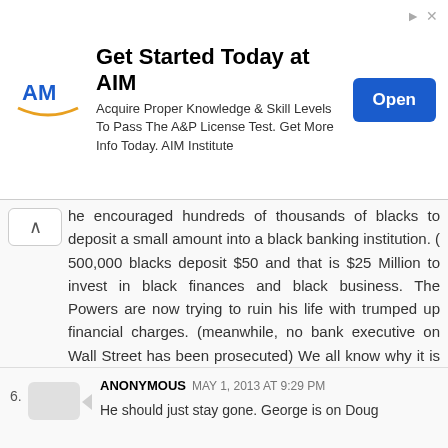[Figure (other): Advertisement banner for AIM Institute. Shows AIM logo, headline 'Get Started Today at AIM', body text 'Acquire Proper Knowledge & Skill Levels To Pass The A&P License Test. Get More Info Today. AIM Institute', and a blue 'Open' button.]
he encouraged hundreds of thousands of blacks to deposit a small amount into a black banking institution. ( 500,000 blacks deposit $50 and that is $25 Million to invest in black finances and black business. The Powers are now trying to ruin his life with trumped up financial charges. (meanwhile, no bank executive on Wall Street has been prosecuted) We all know why it is being done. To silence the positive and promote more of the ignorant garbage on the radio. They want to keep people stupid with lack of unity and knowledge.
Reply
ANONYMOUS MAY 1, 2013 AT 9:29 PM
He should just stay gone. George is on Doug